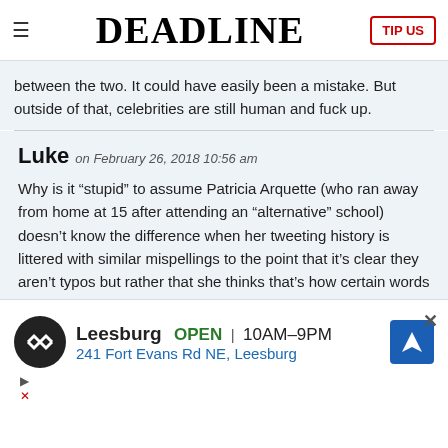DEADLINE
between the two. It could have easily been a mistake. But outside of that, celebrities are still human and fuck up.
Luke on February 26, 2018 10:56 am
Why is it “stupid” to assume Patricia Arquette (who ran away from home at 15 after attending an “alternative” school) doesn’t know the difference when her tweeting history is littered with similar mispellings to the point that it’s clear they aren’t typos but rather that she thinks that’s how certain words are spelled? If you’ve ever heard her speak
[Figure (infographic): Advertisement for Leesburg store showing logo, open hours 10AM-9PM, address 241 Fort Evans Rd NE Leesburg with map arrow icon]